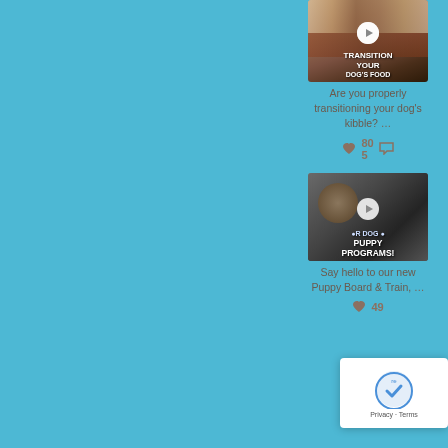[Figure (screenshot): Social media feed screenshot on a teal/blue background. Right panel shows two social media video post cards. First card: video thumbnail with 'TRANSITION YOUR DOG'S FOOD' overlay, play button, text 'Are you properly transitioning your dog's kibble? ...' with 805 likes and comment icon. Second card: video thumbnail with 'PUPPY PROGRAMS!' overlay, play button, text 'Say hello to our new Puppy Board & Train, ...' with 49 likes. A reCAPTCHA widget overlaps the bottom right.]